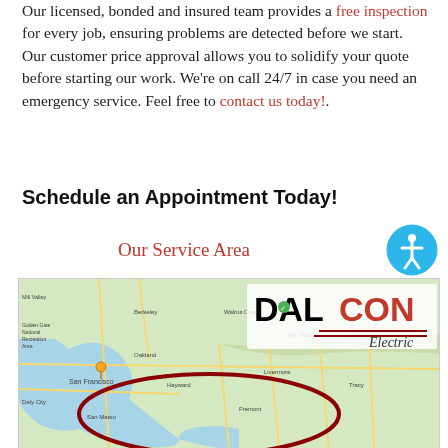Our licensed, bonded and insured team provides a free inspection for every job, ensuring problems are detected before we start. Our customer price approval allows you to solidify your quote before starting our work. We're on call 24/7 in case you need an emergency service. Feel free to contact us today!.
Schedule an Appointment Today!
Our Service Area
[Figure (map): Google Maps view of the San Francisco Bay Area showing Dalcon Electric service area, with a dark red oval drawn around the San Francisco Peninsula and surrounding areas including San Mateo, Hayward, Fremont. The Dalcon Electric logo is overlaid in the upper right of the map.]